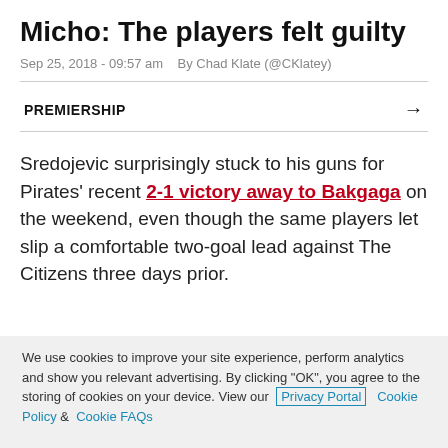Micho: The players felt guilty
Sep 25, 2018 - 09:57 am   By Chad Klate (@CKlatey)
PREMIERSHIP
Sredojevic surprisingly stuck to his guns for Pirates' recent 2-1 victory away to Bakgaga on the weekend, even though the same players let slip a comfortable two-goal lead against The Citizens three days prior.
We use cookies to improve your site experience, perform analytics and show you relevant advertising. By clicking "OK", you agree to the storing of cookies on your device. View our Privacy Portal  Cookie Policy &  Cookie FAQs